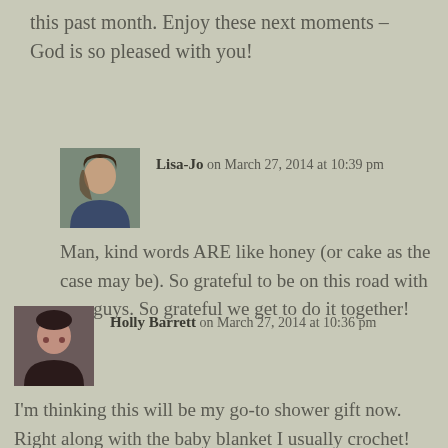this past month. Enjoy these next moments – God is so pleased with you!
Lisa-Jo on March 27, 2014 at 10:39 pm
Man, kind words ARE like honey (or cake as the case may be). So grateful to be on this road with you guys. So grateful we get to do it together!
Holly Barrett on March 27, 2014 at 10:36 pm
I'm thinking this will be my go-to shower gift now. Right along with the baby blanket I usually crochet! Can't wait to get my copy so I